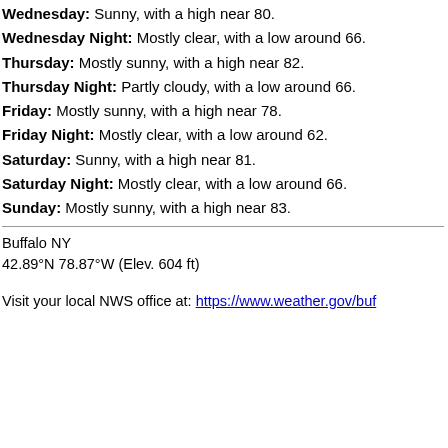Wednesday: Sunny, with a high near 80.
Wednesday Night: Mostly clear, with a low around 66.
Thursday: Mostly sunny, with a high near 82.
Thursday Night: Partly cloudy, with a low around 66.
Friday: Mostly sunny, with a high near 78.
Friday Night: Mostly clear, with a low around 62.
Saturday: Sunny, with a high near 81.
Saturday Night: Mostly clear, with a low around 66.
Sunday: Mostly sunny, with a high near 83.
Buffalo NY
42.89°N 78.87°W (Elev. 604 ft)
Visit your local NWS office at: https://www.weather.gov/buf